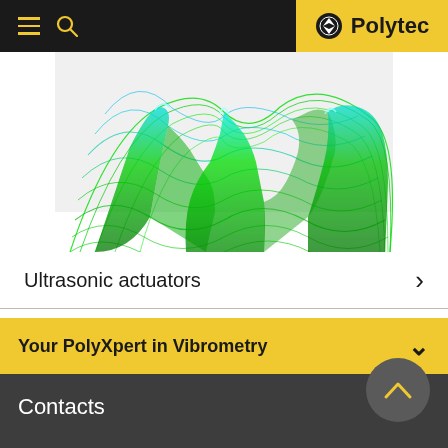Polytec
[Figure (engineering-diagram): 3D visualization of ultrasonic surface vibration modes rendered in green/cyan mesh on a light background, showing wave-like deformation patterns typical of vibrometry analysis]
Ultrasonic actuators >
Your PolyXpert in Vibrometry
Contacts